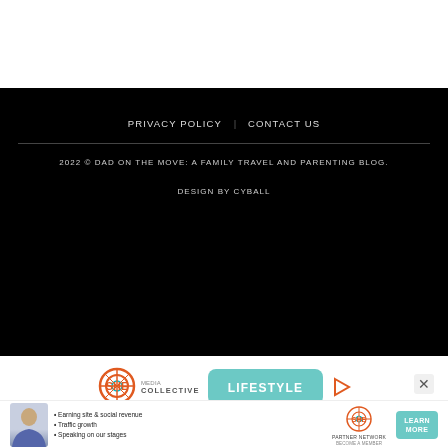PRIVACY POLICY  |  CONTACT US
2022 © DAD ON THE MOVE: A FAMILY TRAVEL AND PARENTING BLOG.
DESIGN BY CYBALL
[Figure (logo): SHE Media Collective - Lifestyle advertisement banner with SHE Collective logo and teal Lifestyle button, play icon, and close X button]
[Figure (infographic): SHE Media Partner Network BECOME A MEMBER banner ad with woman photo, bullet points: Earning site & social revenue, Traffic growth, Speaking on our stages, SHE partner network logo, and LEARN MORE teal button]